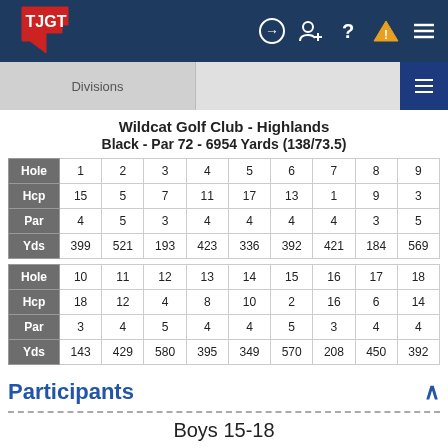TJGT navigation bar with logo and icons
Divisions
Wildcat Golf Club - Highlands
Black - Par 72 - 6954 Yards (138/73.5)
| Hole | 1 | 2 | 3 | 4 | 5 | 6 | 7 | 8 | 9 |
| --- | --- | --- | --- | --- | --- | --- | --- | --- | --- |
| Hcp | 15 | 5 | 7 | 11 | 17 | 13 | 1 | 9 | 3 |
| Par | 4 | 5 | 3 | 4 | 4 | 4 | 4 | 3 | 5 |
| Yds | 399 | 521 | 193 | 423 | 336 | 392 | 421 | 184 | 569 |
| Hole | 10 | 11 | 12 | 13 | 14 | 15 | 16 | 17 | 18 |
| --- | --- | --- | --- | --- | --- | --- | --- | --- | --- |
| Hcp | 18 | 12 | 4 | 8 | 10 | 2 | 16 | 6 | 14 |
| Par | 3 | 4 | 5 | 4 | 4 | 5 | 3 | 4 | 4 |
| Yds | 143 | 429 | 580 | 395 | 349 | 570 | 208 | 450 | 392 |
Participants
Boys 15-18